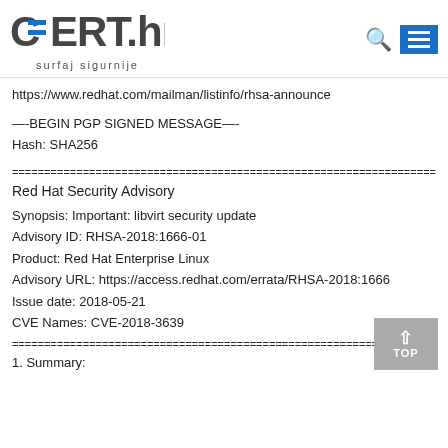CERT.hr surfaj sigurnije
https://www.redhat.com/mailman/listinfo/rhsa-announce
—-BEGIN PGP SIGNED MESSAGE—-
Hash: SHA256
=====================================================================
Red Hat Security Advisory
Synopsis: Important: libvirt security update
Advisory ID: RHSA-2018:1666-01
Product: Red Hat Enterprise Linux
Advisory URL: https://access.redhat.com/errata/RHSA-2018:1666
Issue date: 2018-05-21
CVE Names: CVE-2018-3639
=====================================================================
1. Summary: